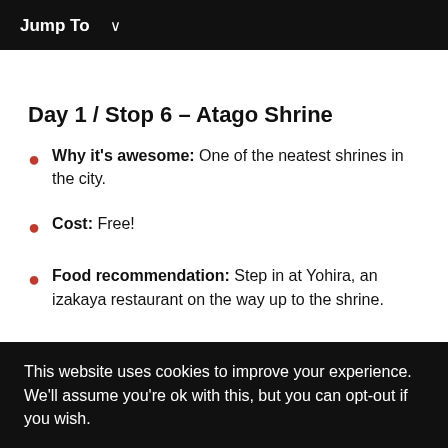Jump To ∨
Day 1 / Stop 6 – Atago Shrine
Why it's awesome: One of the neatest shrines in the city.
Cost: Free!
Food recommendation: Step in at Yohira, an izakaya restaurant on the way up to the shrine.
This website uses cookies to improve your experience. We'll assume you're ok with this, but you can opt-out if you wish.